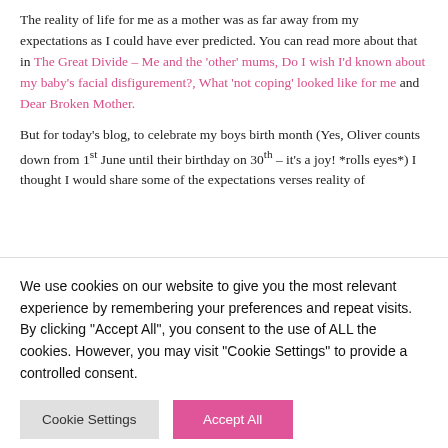The reality of life for me as a mother was as far away from my expectations as I could have ever predicted. You can read more about that in The Great Divide – Me and the 'other' mums, Do I wish I'd known about my baby's facial disfigurement?, What 'not coping' looked like for me and Dear Broken Mother.
But for today's blog, to celebrate my boys birth month (Yes, Oliver counts down from 1st June until their birthday on 30th – it's a joy! *rolls eyes*) I thought I would share some of the expectations verses reality of
We use cookies on our website to give you the most relevant experience by remembering your preferences and repeat visits. By clicking "Accept All", you consent to the use of ALL the cookies. However, you may visit "Cookie Settings" to provide a controlled consent.